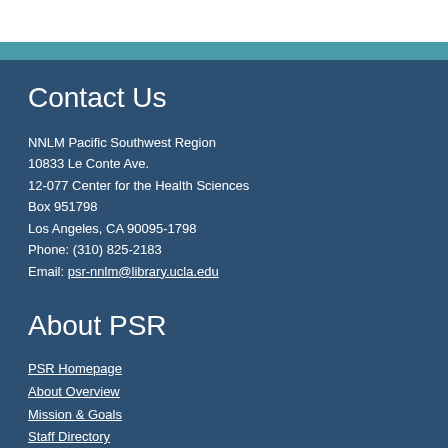Contact Us
NNLM Pacific Southwest Region
10833 Le Conte Ave.
12-077 Center for the Health Sciences
Box 951798
Los Angeles, CA 90095-1798
Phone: (310) 825-2183
Email: psr-nnlm@library.ucla.edu
About PSR
PSR Homepage
About Overview
Mission & Goals
Staff Directory